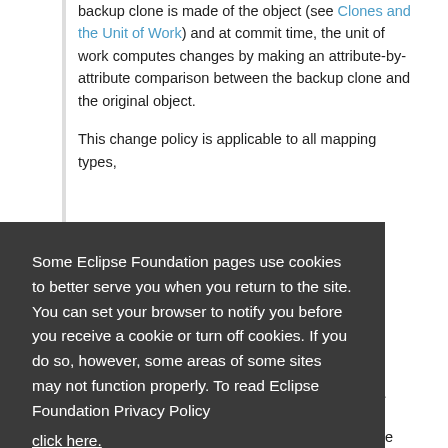backup clone is made of the object (see Clones and the Unit of Work) and at commit time, the unit of work computes changes by making an attribute-by-attribute comparison between the backup clone and the original object.
This change policy is applicable to all mapping types,
Some Eclipse Foundation pages use cookies to better serve you when you return to the site. You can set your browser to notify you before you receive a cookie or turn off cookies. If you do so, however, some areas of some sites may not function properly. To read Eclipse Foundation Privacy Policy click here.
unit of work computes changes by comparing the